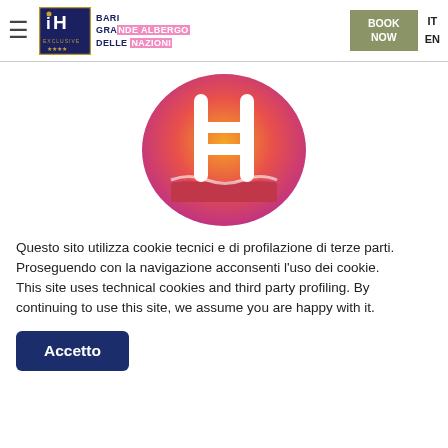[Figure (logo): iH Exclusive hotel logo with text: BARI GRANDE ALBERGO DELLE NAZIONI, BOOK NOW button, IT/EN language selector, hamburger menu icon]
[Figure (illustration): Circular gradient icon (orange to pink/magenta) with white swimming pool ladder symbol]
Questo sito utilizza cookie tecnici e di profilazione di terze parti. Proseguendo con la navigazione acconsenti l'uso dei cookie. This site uses technical cookies and third party profiling. By continuing to use this site, we assume you are happy with it.
Accetto